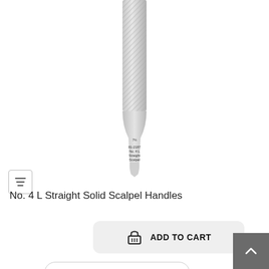[Figure (photo): A No. 4 L Straight Solid Scalpel Handle shown vertically with textured grip at top and smooth blade end, with label '81-2187 No. 4 L Straight Scalpel' visible near the tip.]
No. 4 L Straight Solid Scalpel Handles
ADD TO CART
Sort By: Default sorting